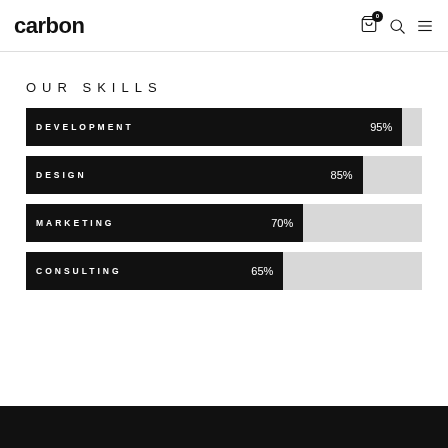carbon
OUR SKILLS
[Figure (bar-chart): OUR SKILLS]